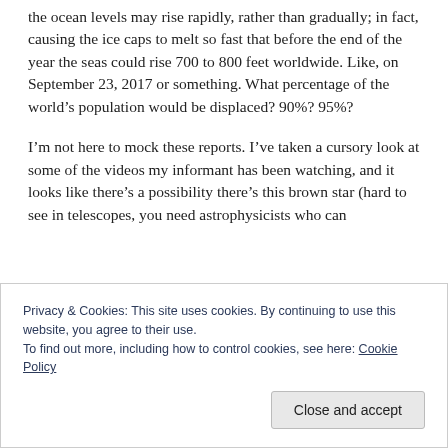the ocean levels may rise rapidly, rather than gradually; in fact, causing the ice caps to melt so fast that before the end of the year the seas could rise 700 to 800 feet worldwide. Like, on September 23, 2017 or something. What percentage of the world's population would be displaced? 90%? 95%?
I'm not here to mock these reports. I've taken a cursory look at some of the videos my informant has been watching, and it looks like there's a possibility there's this brown star (hard to see in telescopes, you need astrophysicists who can
Privacy & Cookies: This site uses cookies. By continuing to use this website, you agree to their use.
To find out more, including how to control cookies, see here: Cookie Policy